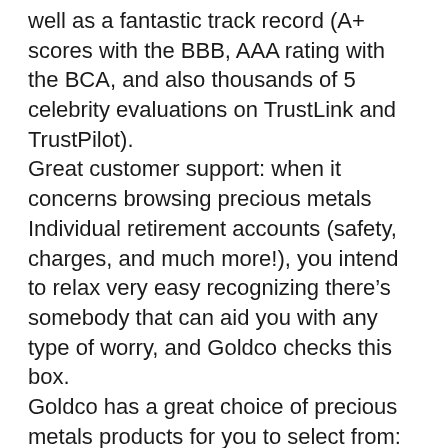well as a fantastic track record (A+ scores with the BBB, AAA rating with the BCA, and also thousands of 5 celebrity evaluations on TrustLink and TrustPilot).
Great customer support: when it concerns browsing precious metals Individual retirement accounts (safety, charges, and much more!), you intend to relax very easy recognizing there’s somebody that can aid you with any type of worry, and Goldco checks this box.
Goldco has a great choice of precious metals products for you to select from: with gold, silver, platinum, and palladium products that are IRS-approved for your individual retirement account, you have actually obtained plenty of options to choose from.